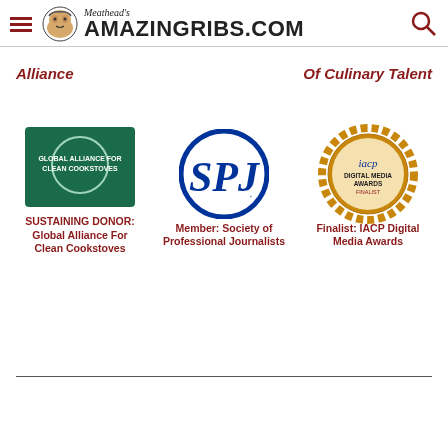Meathead's AmazingRibs.com
Alliance
Of Culinary Talent
[Figure (logo): Global Alliance For Clean Cookstoves logo - green background with circular design and text]
SUSTAINING DONOR: Global Alliance For Clean Cookstoves
[Figure (logo): SPJ - Society of Professional Journalists logo - blue circle with SPJ letters]
Member: Society of Professional Journalists
[Figure (logo): IACP Digital Media Awards Finalist badge - bronze/gold gear-shaped seal]
Finalist: IACP Digital Media Awards